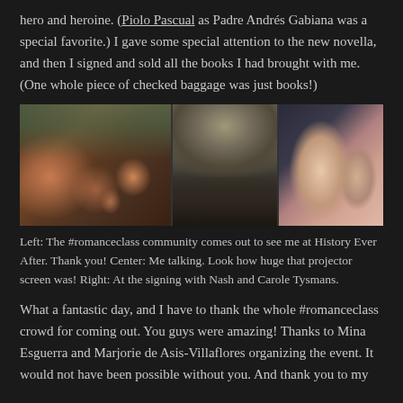hero and heroine. (Piolo Pascual as Padre Andrés Gabiana was a special favorite.) I gave some special attention to the new novella, and then I signed and sold all the books I had brought with me. (One whole piece of checked baggage was just books!)
[Figure (photo): Three-panel photo strip: Left panel shows a group of women posing together at History Ever After event. Center panel shows a speaker at a podium with a large projector screen displaying a man's face. Right panel shows two women posing together at a book signing.]
Left: The #romanceclass community comes out to see me at History Ever After. Thank you! Center: Me talking. Look how huge that projector screen was! Right: At the signing with Nash and Carole Tysmans.
What a fantastic day, and I have to thank the whole #romanceclass crowd for coming out. You guys were amazing! Thanks to Mina Esguerra and Marjorie de Asis-Villaflores organizing the event. It would not have been possible without you. And thank you to my